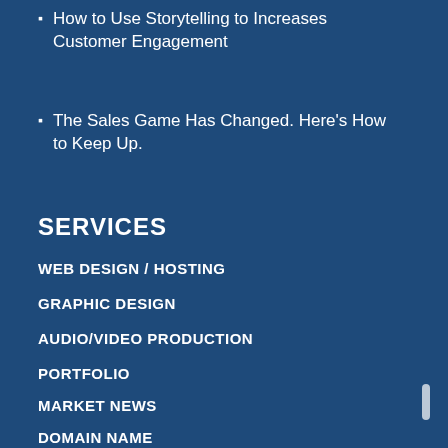How to Use Storytelling to Increases Customer Engagement
The Sales Game Has Changed. Here's How to Keep Up.
SERVICES
WEB DESIGN / HOSTING
GRAPHIC DESIGN
AUDIO/VIDEO PRODUCTION
PORTFOLIO
MARKET NEWS
DOMAIN NAME